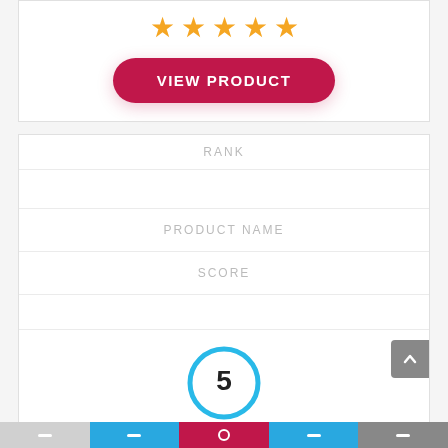[Figure (other): 5-star rating display with orange stars]
[Figure (other): Red rounded 'VIEW PRODUCT' button]
| RANK |  | PRODUCT NAME | SCORE |  |
| --- | --- | --- | --- | --- |
|  |
|  |
| 5 |
|  |
[Figure (other): Blue circle with number 5 score indicator]
[Figure (other): Product thumbnail with specs: 15.6 FHD Display, 16GB RAM(8+8), 1TB SSD]
[Figure (other): Green circle partially visible at bottom left]
Navigation bar with icons